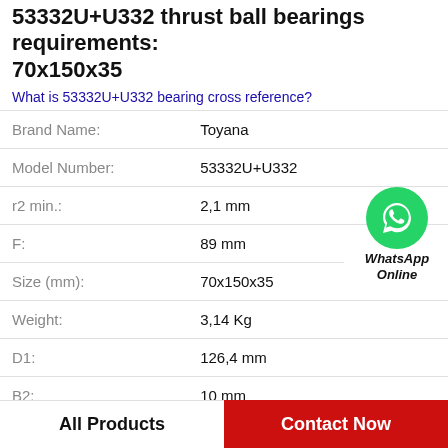53332U+U332 thrust ball bearings requirements: 70x150x35
What is 53332U+U332 bearing cross reference?
| Property | Value |
| --- | --- |
| Brand Name: | Toyana |
| Model Number: | 53332U+U332 |
| r2 min.: | 2,1 mm |
| F: | 89 mm |
| Size (mm): | 70x150x35 |
| Weight: | 3,14 Kg |
| D1: | 126,4 mm |
| B2: | 10 mm |
[Figure (logo): WhatsApp Online green circle icon with phone handset, labeled WhatsApp Online]
All Products
Contact Now